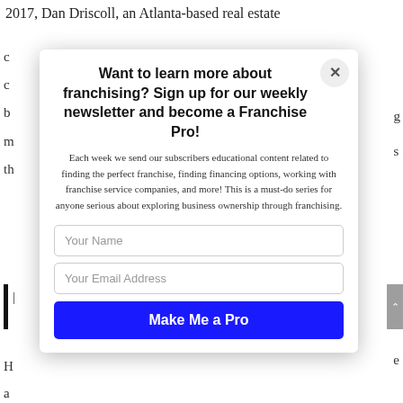2017, Dan Driscoll, an Atlanta-based real estate
c
c
b
m
th
g
s
Want to learn more about franchising? Sign up for our weekly newsletter and become a Franchise Pro!
Each week we send our subscribers educational content related to finding the perfect franchise, finding financing options, working with franchise service companies, and more! This is a must-do series for anyone serious about exploring business ownership through franchising.
Your Name
Your Email Address
Make Me a Pro
H
a
p